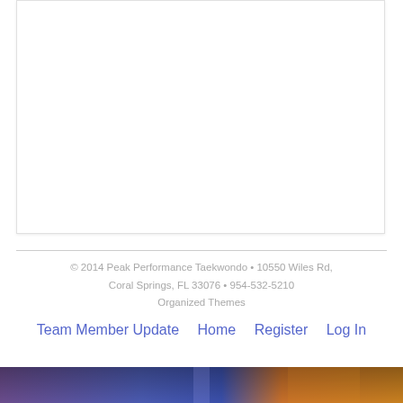[Figure (other): White content card / box with border and shadow, mostly blank white space]
© 2014 Peak Performance Taekwondo • 10550 Wiles Rd, Coral Springs, FL 33076 • 954-532-5210
Organized Themes
Team Member Update   Home   Register   Log In
[Figure (photo): Colorful gradient image strip at the bottom of the page with purple, blue, and orange/gold tones]